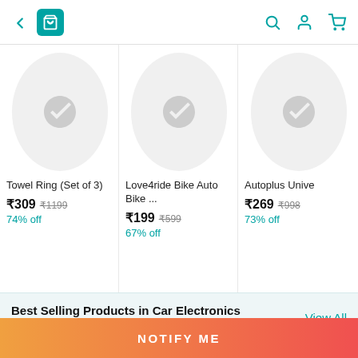[Figure (screenshot): Mobile app navigation bar with back arrow, shopping bag icon (teal), search icon, profile icon, and cart icon]
[Figure (photo): Product image placeholder circle for Towel Ring (Set of 3)]
Towel Ring (Set of 3)
₹309  ₹1199
74% off
[Figure (photo): Product image placeholder circle for Love4ride Bike Auto Bike ...]
Love4ride Bike Auto Bike ...
₹199  ₹599
67% off
[Figure (photo): Product image placeholder circle for Autoplus Unive]
Autoplus Unive
₹269  ₹998
73% off
Best Selling Products in Car Electronics
1677 products
View All
NOTIFY ME